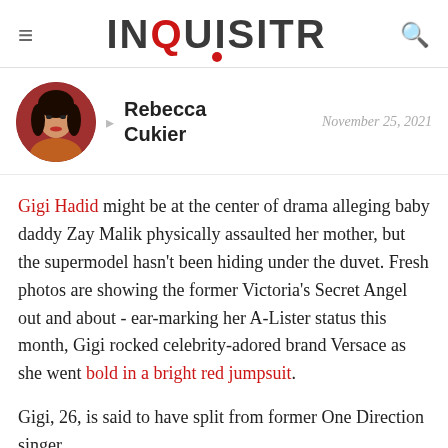INQUISITR
Rebecca Cukier · November 25, 2021
Gigi Hadid might be at the center of drama alleging baby daddy Zay Malik physically assaulted her mother, but the supermodel hasn't been hiding under the duvet. Fresh photos are showing the former Victoria's Secret Angel out and about - ear-marking her A-Lister status this month, Gigi rocked celebrity-adored brand Versace as she went bold in a bright red jumpsuit.
Gigi, 26, is said to have split from former One Direction singer